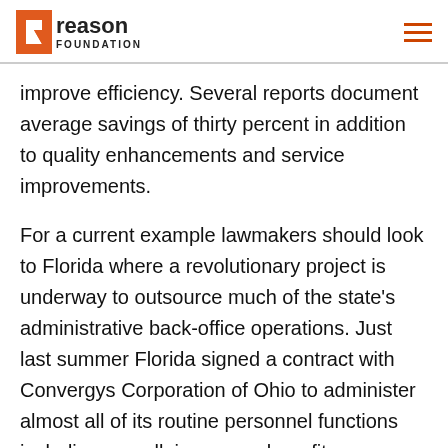Reason Foundation
improve efficiency. Several reports document average savings of thirty percent in addition to quality enhancements and service improvements.
For a current example lawmakers should look to Florida where a revolutionary project is underway to outsource much of the state’s administrative back-office operations. Just last summer Florida signed a contract with Convergys Corporation of Ohio to administer almost all of its routine personnel functions including payroll, insurance benefits, employee training, and recruiting. The contract will save the state an estimated $173 million over seven years. Florida will not only avoid